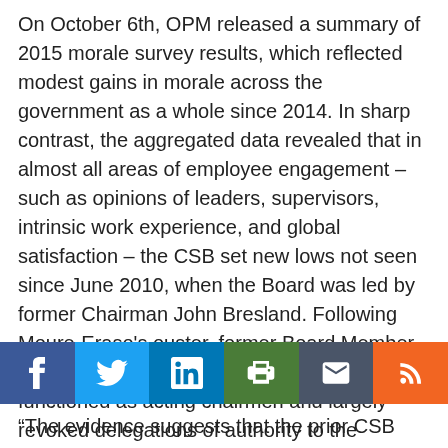On October 6th, OPM released a summary of 2015 morale survey results, which reflected modest gains in morale across the government as a whole since 2014. In sharp contrast, the aggregated data revealed that in almost all areas of employee engagement – such as opinions of leaders, supervisors, intrinsic work experience, and global satisfaction – the CSB set new lows not seen since June 2010, when the Board was led by former Chairman John Bresland. Following Moure-Eraso's ouster, former Board Member Mark Griffon and current Member Rick Engler functioned as acting chairmen and largely revoked delegations of authority to the [g...C...s...o...] rowitz.
"The evidence suggests that the prior CSB